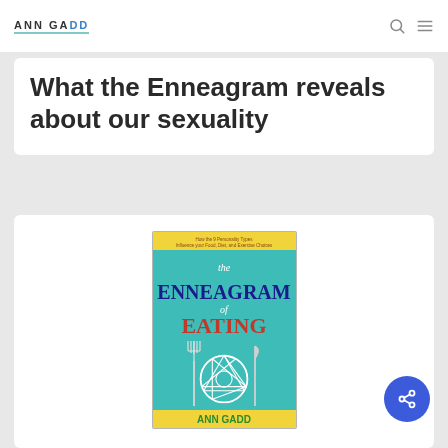ANN GADD
What the Enneagram reveals about our sexuality
[Figure (photo): Book cover of 'The Enneagram of Eating' by Ann Gadd — teal background with large text, a white enneagram symbol between a fork and knife, and yellow subtitle text at top about 9 personality types influencing food, diet, and exercise choices.]